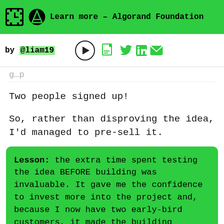Learn more – Algorand Foundation
by @liam19
Two people signed up!
So, rather than disproving the idea, I'd managed to pre-sell it.
Lesson: the extra time spent testing the idea BEFORE building was invaluable. It gave me the confidence to invest more into the project and, because I now have two early-bird customers, it made the building process much easier (see below).